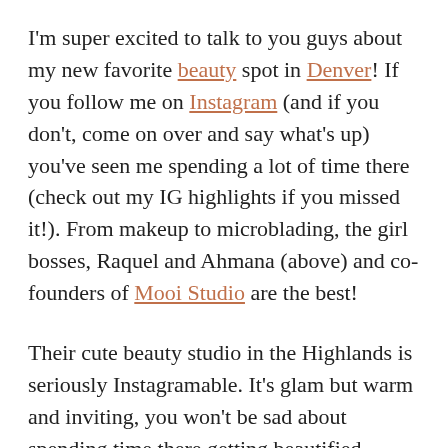I'm super excited to talk to you guys about my new favorite beauty spot in Denver! If you follow me on Instagram (and if you don't, come on over and say what's up) you've seen me spending a lot of time there (check out my IG highlights if you missed it!). From makeup to microblading, the girl bosses, Raquel and Ahmana (above) and co-founders of Mooi Studio are the best!
Their cute beauty studio in the Highlands is seriously Instagramable. It's glam but warm and inviting, you won't be sad about spending time there getting beautified. Ahmana and Raquel are so sweet and both women have so much experience in the beauty world I